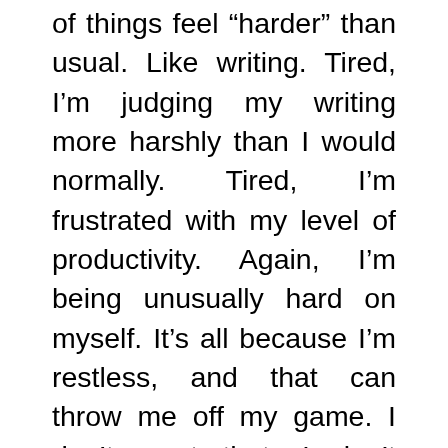of things feel “harder” than usual. Like writing. Tired, I’m judging my writing more harshly than I would normally. Tired, I’m frustrated with my level of productivity. Again, I’m being unusually hard on myself. It’s all because I’m restless, and that can throw me off my game. I don’t want that. I don’t want restlessness to tackle me the way the ball carrier in a game of rugby is brought to the ground. If that happens, I risk being caught somewhere between the mountain and the valley, stuck. Immobile.